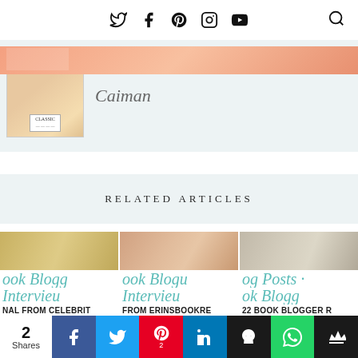Social media icons: Twitter, Facebook, Pinterest, Instagram, YouTube, Search
[Figure (photo): Book cover thumbnail with peach/cream tones]
Caiman
RELATED ARTICLES
[Figure (photo): Three article card thumbnails showing blurred book/reading images with script overlay text: 'ook Blogg Interview', 'ook Blogg Interview', 'og Posts ook Blogg' and labels 'NAL FROM CELEBRIT', 'FROM ERINSBOOKRE', '22 BOOK BLOGGER R']
[Figure (photo): Bottom row of article card thumbnails]
2 Shares — Facebook, Twitter, Pinterest (2), LinkedIn, Hootsuite, WhatsApp, Crown share buttons